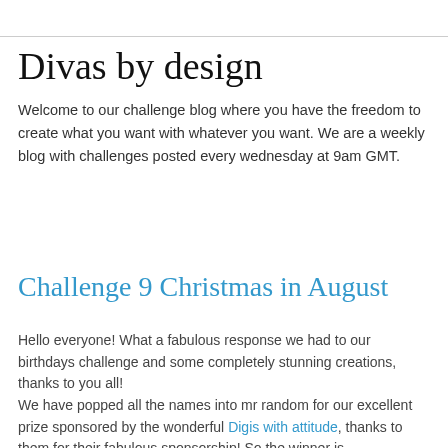Divas by design
Welcome to our challenge blog where you have the freedom to create what you want with whatever you want. We are a weekly blog with challenges posted every wednesday at 9am GMT.
Wednesday, 24 August 2011
Challenge 9 Christmas in August
Hello everyone! What a fabulous response we had to our birthdays challenge and some completely stunning creations, thanks to you all!
We have popped all the names into mr random for our excellent prize sponsored by the wonderful Digis with attitude, thanks to them for their fabulous sponsorship! So the winner is....... number 52 Cathy
Congrats! Please contact Rebekah at the email in the right...